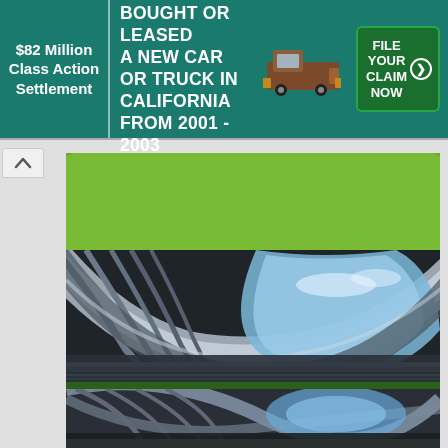[Figure (infographic): Advertisement banner: '$82 Million Class Action Settlement — IF YOU BOUGHT OR LEASED A NEW CAR OR TRUCK IN CALIFORNIA FROM 2001 - 2003' with truck image and green 'FILE YOUR CLAIM NOW' button, on teal/green background.]
[Figure (photo): Top portion of a green grassy landscape with shrubs and stairs visible, partially cut off.]
[Figure (photo): Architectural rendering of a modern stadium interior showing a sweeping curved roof structure with light filtering through, and a packed stadium below with a football field.]